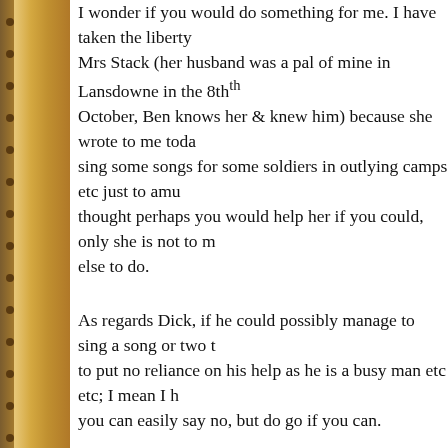I wonder if you would do something for me. I have taken the liberty of writing to Mrs Stack (her husband was a pal of mine in Lansdowne in the 8th October, Ben knows her & knew him) because she wrote to me today to sing some songs for some soldiers in outlying camps etc just to amu thought perhaps you would help her if you could, only she is not to m else to do.
As regards Dick, if he could possibly manage to sing a song or two to put no reliance on his help as he is a busy man etc etc; I mean I h you can easily say no, but do go if you can.
No news; send along London opinion & a mail occasionally, Tons of
P.S. In case you are put to any expense over this show, I enclose £1
I feel a certain sympathy for Ted, asking his siblings to do something time consuming for someone they don't know, for whom he feels so.
His letters and Ben's letters in November and December frequently Bagot Stack, known as Mollie, the widow of Captain Edward Hugh B October 1914. They had two chilren the eldest of whom had died at been born in July 1914 just before war was declared. Mary went to L Mary and Brunella landed in Portsmouth. This was dreadful time for